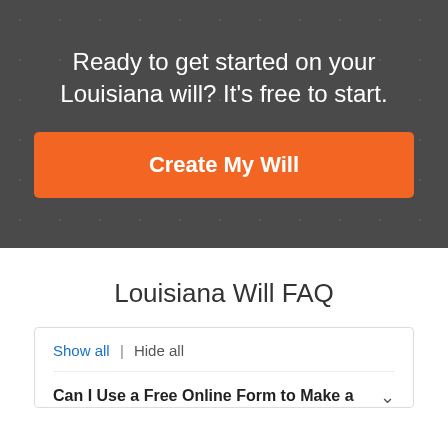Ready to get started on your Louisiana will? It's free to start.
Create My Will
Louisiana Will FAQ
Show all | Hide all
Can I Use a Free Online Form to Make a